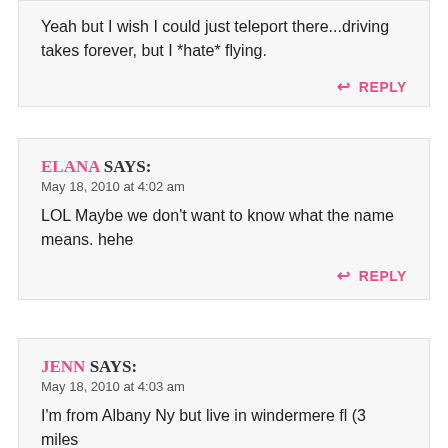Yeah but I wish I could just teleport there...driving takes forever, but I *hate* flying.
↩ REPLY
ELANA SAYS:
May 18, 2010 at 4:02 am
LOL Maybe we don't want to know what the name means. hehe
↩ REPLY
JENN SAYS:
May 18, 2010 at 4:03 am
I'm from Albany Ny but live in windermere fl (3 miles